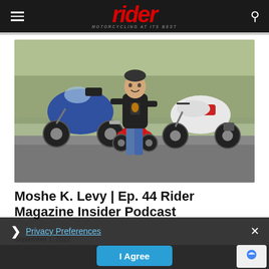rider — MOTORCYCLING AT ITS BEST
[Figure (photo): A man sitting on a small red motorcycle in a parking area, smiling. Behind him are two larger motorcycles: a blue touring bike on the left and a white/red cafe-style motorcycle on the right. Bare trees visible in the background.]
Moshe K. Levy | Ep. 44 Rider Magazine Insider Podcast
September 1, 2022
Privacy Preferences
I Agree